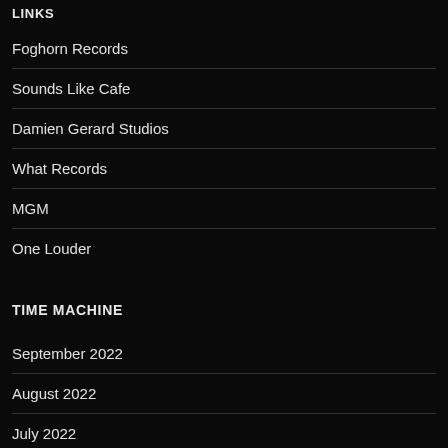LINKS
Foghorn Records
Sounds Like Cafe
Damien Gerard Studios
What Records
MGM
One Louder
TIME MACHINE
September 2022
August 2022
July 2022